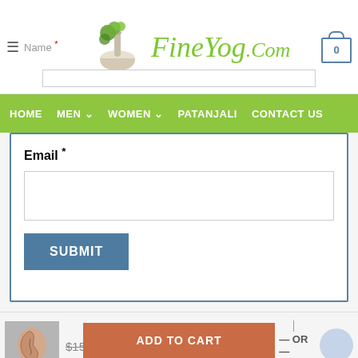FineYog.Com
HOME  MEN  WOMEN  PATANJALI  CONTACT US
Email *
SUBMIT
$15.00  $11.50
- 1 + OR ADD TO CART